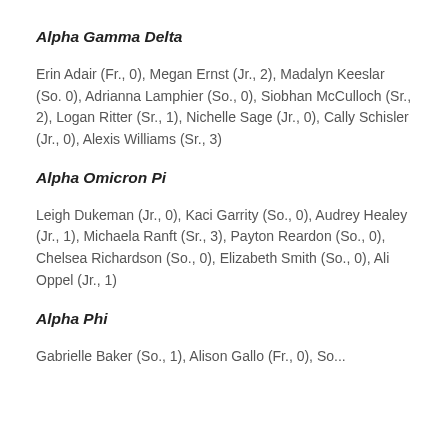Alpha Gamma Delta
Erin Adair (Fr., 0), Megan Ernst (Jr., 2), Madalyn Keeslar (So. 0), Adrianna Lamphier (So., 0), Siobhan McCulloch (Sr., 2), Logan Ritter (Sr., 1), Nichelle Sage (Jr., 0), Cally Schisler (Jr., 0), Alexis Williams (Sr., 3)
Alpha Omicron Pi
Leigh Dukeman (Jr., 0), Kaci Garrity (So., 0), Audrey Healey (Jr., 1), Michaela Ranft (Sr., 3), Payton Reardon (So., 0), Chelsea Richardson (So., 0), Elizabeth Smith (So., 0), Ali Oppel (Jr., 1)
Alpha Phi
Gabrielle Baker (So., 1), Alison Gallo (Fr., 0), So...